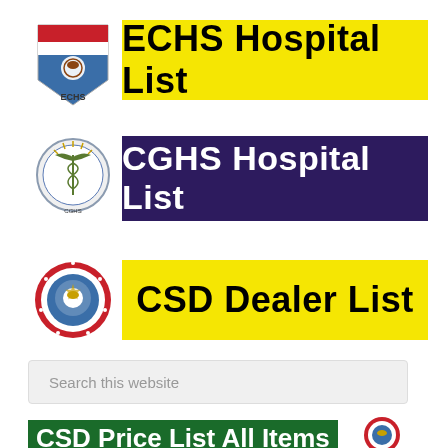[Figure (logo): ECHS shield logo with red, blue, white and eagle emblem, labeled ECHS below]
ECHS Hospital List
[Figure (logo): CGHS circular badge logo with medical staff/caduceus emblem]
CGHS Hospital List
[Figure (logo): CSD circular badge with red floral border and military emblem]
CSD Dealer List
Search this website
CSD Price List All Items